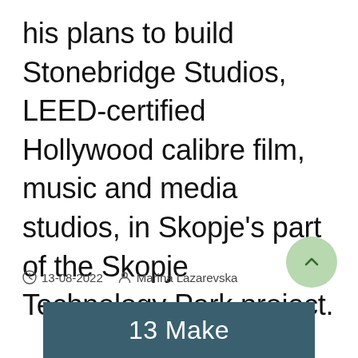his plans to build Stonebridge Studios, LEED-certified Hollywood calibre film, music and media studios, in Skopje's part of the Skopje Technology Park project.
13-08-2022  Marina Lazarevska
[Figure (other): Partial view of a blue banner with white text beginning '13 Make']